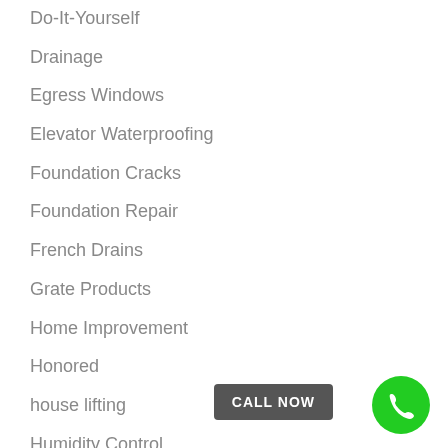Do-It-Yourself
Drainage
Egress Windows
Elevator Waterproofing
Foundation Cracks
Foundation Repair
French Drains
Grate Products
Home Improvement
Honored
house lifting
Humidity Control
Marketing Plan